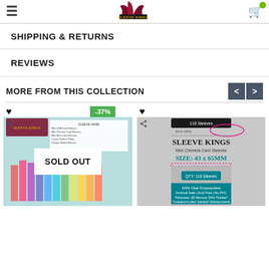Sleeve Kings - Navigation header with logo and cart
SHIPPING & RETURNS
REVIEWS
MORE FROM THIS COLLECTION
[Figure (screenshot): Product card showing a Sleeve Kings size comparison chart, marked SOLD OUT with -37% discount badge]
[Figure (screenshot): Product card showing Sleeve Kings Mini Chimera Card Sleeves SKS-0802, SIZE: 43 x 65MM, QTY: 110 Sleeves]